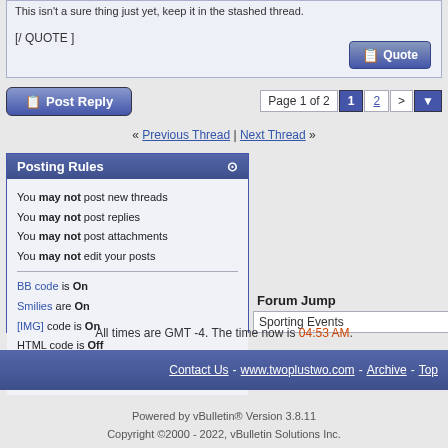This isn't a sure thing just yet, keep it in the stashed thread.
[/ QUOTE ]
Post Reply | Page 1 of 2  1  2  > ▼
« Previous Thread | Next Thread »
Posting Rules
You may not post new threads
You may not post replies
You may not post attachments
You may not edit your posts
BB code is On
Smilies are On
[IMG] code is On
HTML code is Off
Forum Rules
Forum Jump
Sporting Events
All times are GMT -4. The time now is 04:53 AM.
Contact Us - www.twoplustwo.com - Archive - Top
Powered by vBulletin® Version 3.8.11
Copyright ©2000 - 2022, vBulletin Solutions Inc.